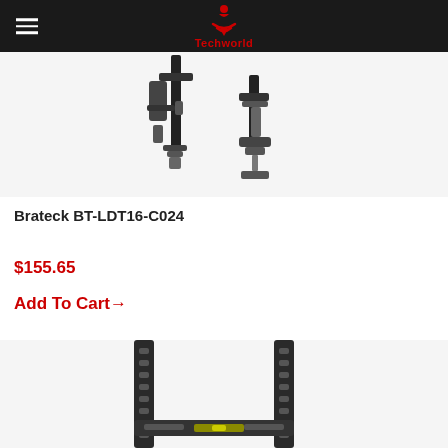Techworld
[Figure (photo): Product photo of Brateck BT-LDT16-C024 monitor desk mount clamp, showing two vertical poles with clamp mechanism, black metal]
Brateck BT-LDT16-C024
$155.65
Add To Cart→
[Figure (photo): Product photo of a flat panel TV wall mount bracket, black metal with adjustment slots and level bubble, partially visible]